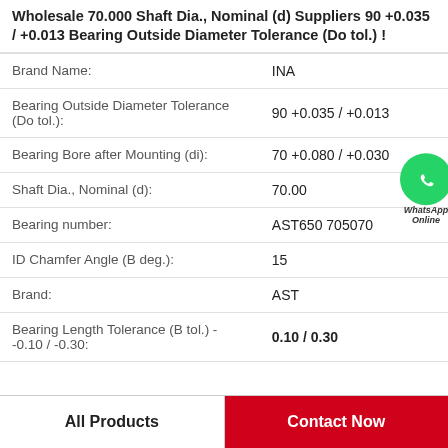Wholesale 70.000 Shaft Dia., Nominal (d) Suppliers 90 +0.035 / +0.013 Bearing Outside Diameter Tolerance (Do tol.) !
| Property | Value |
| --- | --- |
| Brand Name: | INA |
| Bearing Outside Diameter Tolerance (Do tol.): | 90 +0.035 / +0.013 |
| Bearing Bore after Mounting (di): | 70 +0.080 / +0.030 |
| Shaft Dia., Nominal (d): | 70.00 |
| Bearing number: | AST650 705070 |
| ID Chamfer Angle (B deg.): | 15 |
| Brand: | AST |
| Bearing Length Tolerance (B tol.) - -0.10 / -0.30: | 0.10 / 0.30 |
All Products
Contact Now